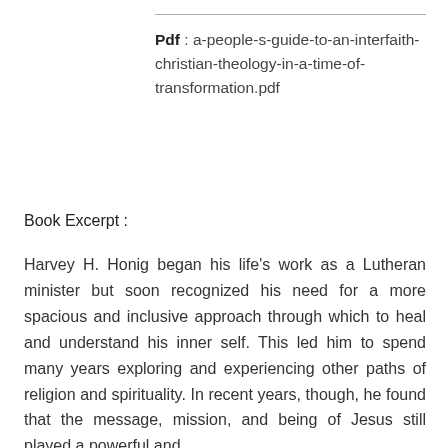Pdf : a-people-s-guide-to-an-interfaith-christian-theology-in-a-time-of-transformation.pdf
Book Excerpt :
Harvey H. Honig began his life's work as a Lutheran minister but soon recognized his need for a more spacious and inclusive approach through which to heal and understand his inner self. This led him to spend many years exploring and experiencing other paths of religion and spirituality. In recent years, though, he found that the message, mission, and being of Jesus still played a powerful and